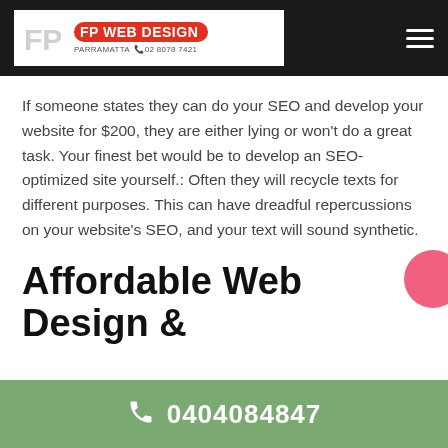FP WEB DESIGN — PARRAMATTA 02 8078 7421
If someone states they can do your SEO and develop your website for $200, they are either lying or won't do a great task. Your finest bet would be to develop an SEO-optimized site yourself.: Often they will recycle texts for different purposes. This can have dreadful repercussions on your website's SEO, and your text will sound synthetic.
Affordable Web Design &
0404084847